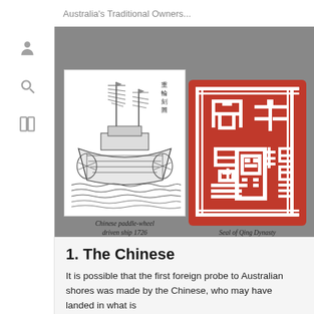Australia's Traditional Owners...
[Figure (illustration): Black and white line drawing of a Chinese paddle-wheel driven ship from 1726, with Chinese characters in top right corner. Adjacent is a red square seal with Chinese characters - Seal of Qing Dynasty.]
Chinese paddle-wheel driven ship 1726
Seal of Qing Dynasty
1. The Chinese
It is possible that the first foreign probe to Australian shores was made by the Chinese, who may have landed in what is